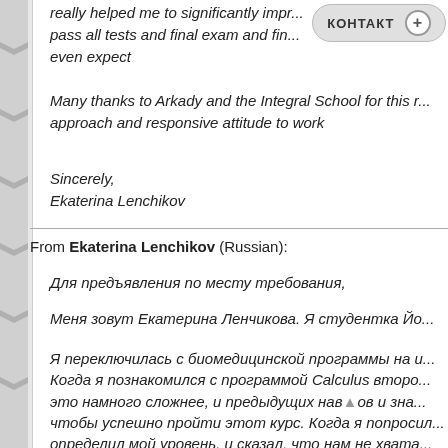...really helped me to significantly impr... pass all tests and final exam and fin... even expect
Many thanks to Arkady and the Integral School for this r... approach and responsive attitude to work
Sincerely,
Ekaterina Lenchikov
From Ekaterina Lenchikov (Russian):
Для предъявления по месту требования,
Меня зовут Екатерина Ленчикова. Я студентка Йо...
Я переключилась с биомедицинской программы на и... Когда я познакомился с программой Calculus второ... это намного сложнее, и предыдущих навыков и зна... чтобы успешно пройти этот курс. Когда я попросил... определил мой уровень, и сказал, что нам не хвата... интенсивными уроками, чтобы сделать эту програ... остановить этот курс, потому что другие предме...